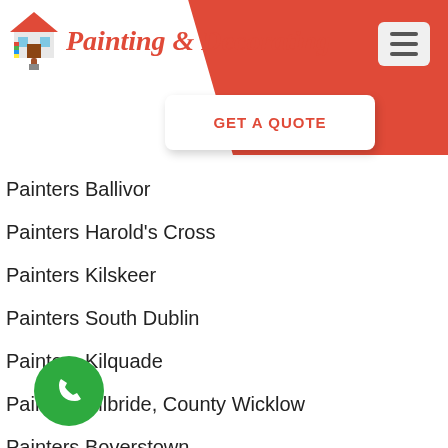[Figure (logo): Painting & Decorating logo with house and paint brush icon]
[Figure (infographic): GET A QUOTE button on white card]
Painters Ballivor
Painters Harold's Cross
Painters Kilskeer
Painters South Dublin
Painters Kilquade
Painters Kilbride, County Wicklow
Painters Boverstown